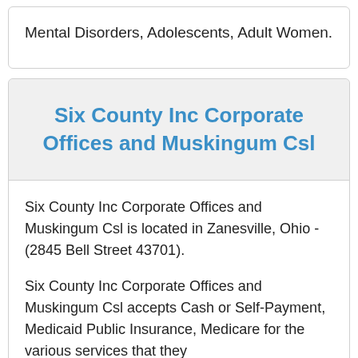Mental Disorders, Adolescents, Adult Women.
Six County Inc Corporate Offices and Muskingum Csl
Six County Inc Corporate Offices and Muskingum Csl is located in Zanesville, Ohio - (2845 Bell Street 43701).
Six County Inc Corporate Offices and Muskingum Csl accepts Cash or Self-Payment, Medicaid Public Insurance, Medicare for the various services that they